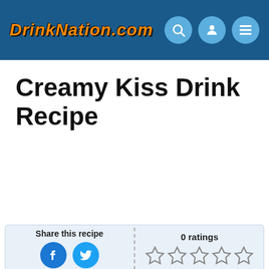DRINKNATION.COM
Creamy Kiss Drink Recipe
Share this recipe
0 ratings